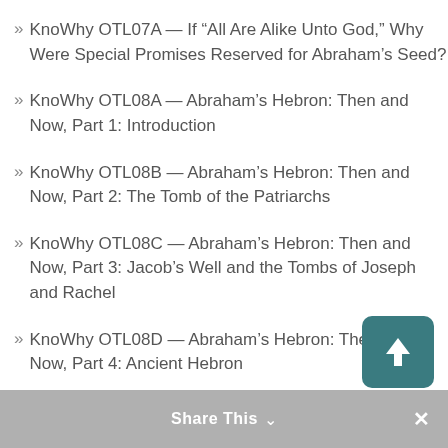» KnoWhy OTL07A — If “All Are Alike Unto God,” Why Were Special Promises Reserved for Abraham’s Seed?
» KnoWhy OTL08A — Abraham’s Hebron: Then and Now, Part 1: Introduction
» KnoWhy OTL08B — Abraham’s Hebron: Then and Now, Part 2: The Tomb of the Patriarchs
» KnoWhy OTL08C — Abraham’s Hebron: Then and Now, Part 3: Jacob’s Well and the Tombs of Joseph and Rachel
» KnoWhy OTL08D — Abraham’s Hebron: Then and Now, Part 4: Ancient Hebron
» KnoWhy OTL08E — Abraham’s Hebron: Then and Now, Part 5: Mamre…
Share This